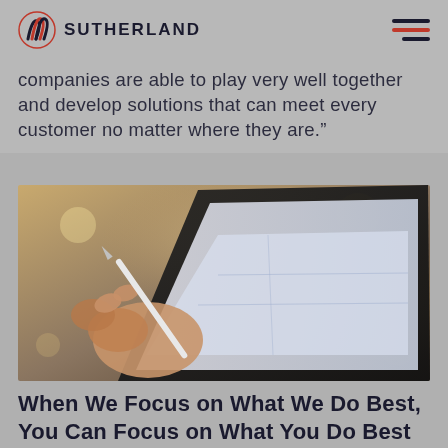SUTHERLAND
companies are able to play very well together and develop solutions that can meet every customer no matter where they are.”
[Figure (photo): Close-up photo of a hand holding a stylus/pen, touching a tablet screen, with a blurred warm background.]
When We Focus on What We Do Best, You Can Focus on What You Do Best